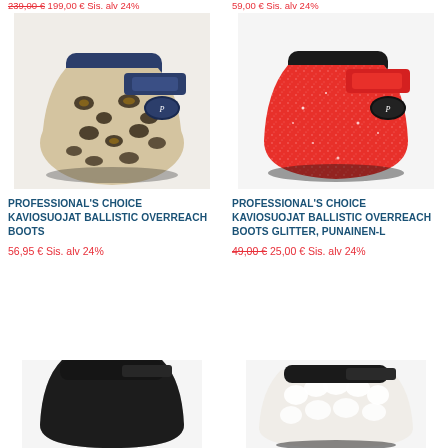239,00 € 199,00 € Sis. alv 24%
59,00 € Sis. alv 24%
[Figure (photo): Leopard print Professional's Choice Kaviosuojat Ballistic Overreach Boot]
[Figure (photo): Red glitter Professional's Choice Kaviosuojat Ballistic Overreach Boot Glitter, Punainen-L]
PROFESSIONAL'S CHOICE KAVIOSUOJAT BALLISTIC OVERREACH BOOTS
56,95 € Sis. alv 24%
PROFESSIONAL'S CHOICE KAVIOSUOJAT BALLISTIC OVERREACH BOOTS GLITTER, PUNAINEN-L
49,00 € 25,00 € Sis. alv 24%
[Figure (photo): Black Professional's Choice overreach boot, bottom view]
[Figure (photo): White sheepskin lined overreach boot]